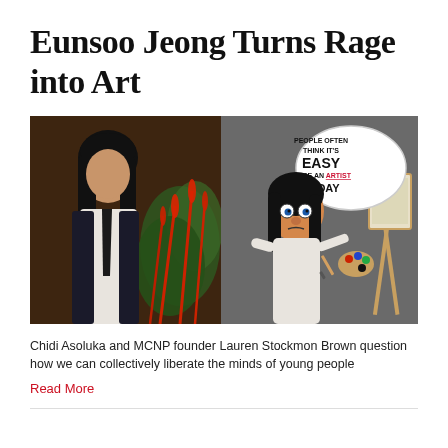Eunsoo Jeong Turns Rage into Art
[Figure (photo): Side-by-side image: left shows a woman (Eunsoo Jeong) with long black hair wearing a white shirt and dark tie against a plant background; right shows a puppet/clay figure resembling the woman holding a paint palette next to an easel, with a speech bubble reading 'PEOPLE OFTEN THINK IT'S EASY TO BE AN ARTIST TODAY']
Chidi Asoluka and MCNP founder Lauren Stockmon Brown question how we can collectively liberate the minds of young people
Read More